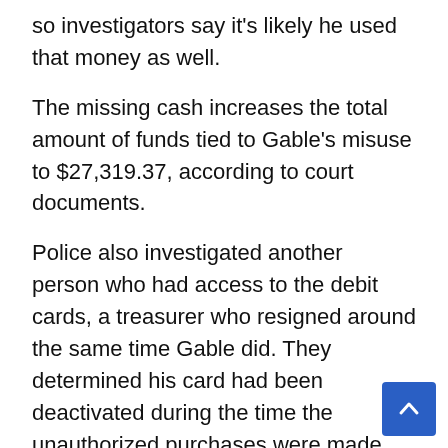so investigators say it's likely he used that money as well.
The missing cash increases the total amount of funds tied to Gable's misuse to $27,319.37, according to court documents.
Police also investigated another person who had access to the debit cards, a treasurer who resigned around the same time Gable did. They determined his card had been deactivated during the time the unauthorized purchases were made